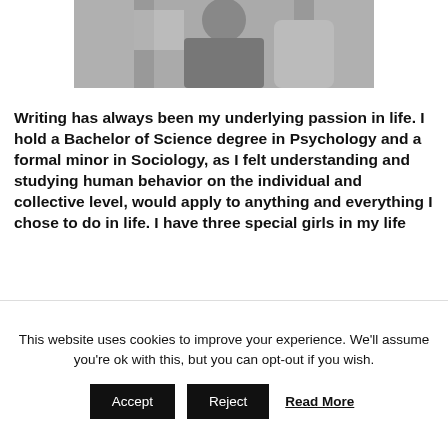[Figure (photo): Black and white photo of a person sitting in a chair, wearing a patterned top and lace wrap]
Writing has always been my underlying passion in life. I hold a Bachelor of Science degree in Psychology and a formal minor in Sociology, as I felt understanding and studying human behavior on the individual and collective level, would apply to anything and everything I chose to do in life. I have three special girls in my life
This website uses cookies to improve your experience. We'll assume you're ok with this, but you can opt-out if you wish.